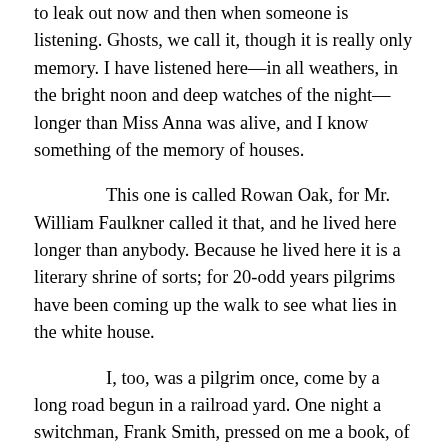to leak out now and then when someone is listening. Ghosts, we call it, though it is really only memory. I have listened here—in all weathers, in the bright noon and deep watches of the night—longer than Miss Anna was alive, and I know something of the memory of houses.
This one is called Rowan Oak, for Mr. William Faulkner called it that, and he lived here longer than anybody. Because he lived here it is a literary shrine of sorts; for 20-odd years pilgrims have been coming up the walk to see what lies in the white house.
I, too, was a pilgrim once, come by a long road begun in a railroad yard. One night a switchman, Frank Smith, pressed on me a book, of all things, a paperback, greasy and bent to the shape of his blue jeans pocket. "Read this," he said. In the yard office after the train was gone, I opened it and began to read, and the world was never the same again.